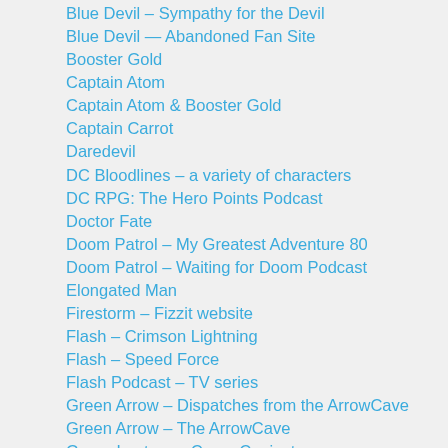Blue Devil – Sympathy for the Devil
Blue Devil — Abandoned Fan Site
Booster Gold
Captain Atom
Captain Atom & Booster Gold
Captain Carrot
Daredevil
DC Bloodlines – a variety of characters
DC RPG: The Hero Points Podcast
Doctor Fate
Doom Patrol – My Greatest Adventure 80
Doom Patrol – Waiting for Doom Podcast
Elongated Man
Firestorm – Fizzit website
Flash – Crimson Lightning
Flash – Speed Force
Flash Podcast – TV series
Green Arrow – Dispatches from the ArrowCave
Green Arrow – The ArrowCave
Green Lantern – Corps Conjecture
Green Lantern – Laterncast
Hawkman
Invasion!